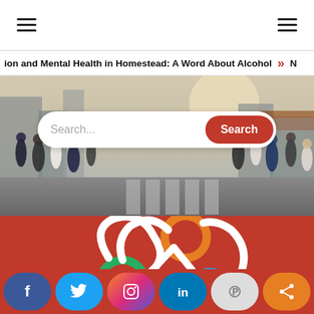[Figure (screenshot): Website screenshot showing navigation bar with hamburger menus on both sides, a ticker bar with article headline 'ion and Mental Health in Homestead: A Word About Alcohol', a hero banner with crowd photo and search bar, a red background logo section, and social media sharing buttons at the bottom (Facebook, Twitter, Instagram, LinkedIn, Pinterest, Share)]